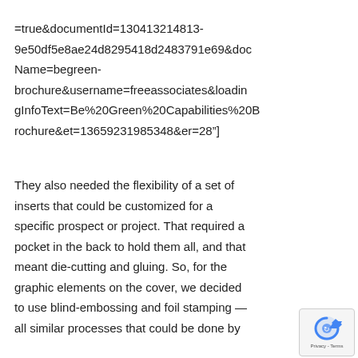=true&documentId=130413214813-9e50df5e8ae24d8295418d2483791e69&docName=begreen-brochure&username=freeassociates&loadingInfoText=Be%20Green%20Capabilities%20Brochure&et=13659231985348&er=28"]
They also needed the flexibility of a set of inserts that could be customized for a specific prospect or project. That required a pocket in the back to hold them all, and that meant die-cutting and gluing. So, for the graphic elements on the cover, we decided to use blind-embossing and foil stamping — all similar processes that could be done by